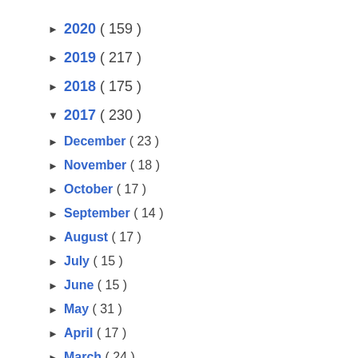► 2020 ( 159 )
► 2019 ( 217 )
► 2018 ( 175 )
▼ 2017 ( 230 )
► December ( 23 )
► November ( 18 )
► October ( 17 )
► September ( 14 )
► August ( 17 )
► July ( 15 )
► June ( 15 )
► May ( 31 )
► April ( 17 )
► March ( 24 )
► February ( 20 )
▼ January ( 19 )
Week3- My pick of nice to read travel stories!